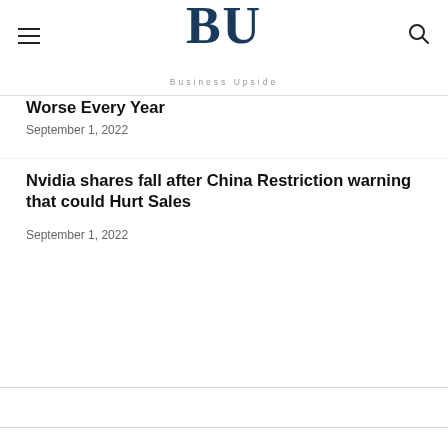BU Business Upside
Worse Every Year
September 1, 2022
Nvidia shares fall after China Restriction warning that could Hurt Sales
September 1, 2022